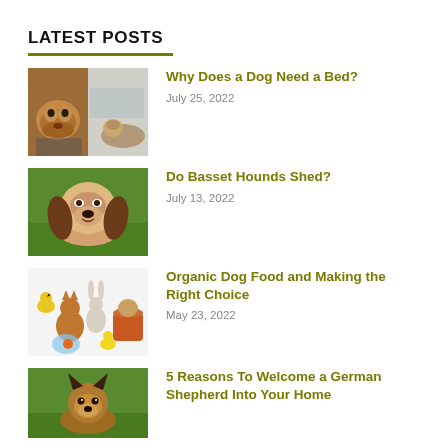LATEST POSTS
[Figure (photo): Two dog photos side by side: a dog resting its chin on a surface and a dog lying on a floor near furniture]
Why Does a Dog Need a Bed?
July 25, 2022
[Figure (photo): A Basset Hound sitting on grass outdoors]
Do Basset Hounds Shed?
July 13, 2022
[Figure (photo): Various pets including a yellow bird, cat, rabbit, puppy in a bucket, fish in a bowl, duckling, and a worm]
Organic Dog Food and Making the Right Choice
May 23, 2022
[Figure (photo): A German Shepherd dog sitting on grass]
5 Reasons To Welcome a German Shepherd Into Your Home